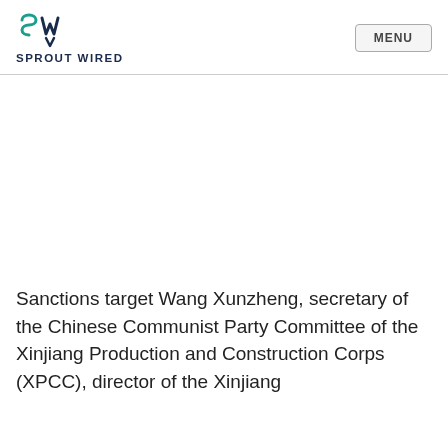SPROUT WIRED
Sanctions target Wang Xunzheng, secretary of the Chinese Communist Party Committee of the Xinjiang Production and Construction Corps (XPCC), director of the Xinjiang